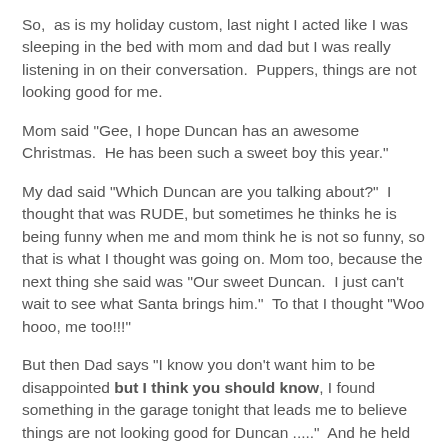So,  as is my holiday custom, last night I acted like I was sleeping in the bed with mom and dad but I was really listening in on their conversation.  Puppers, things are not looking good for me.
Mom said "Gee, I hope Duncan has an awesome Christmas.  He has been such a sweet boy this year."
My dad said "Which Duncan are you talking about?"  I thought that was RUDE, but sometimes he thinks he is being funny when me and mom think he is not so funny, so that is what I thought was going on. Mom too, because the next thing she said was "Our sweet Duncan.  I just can't wait to see what Santa brings him."  To that I thought "Woo hooo, me too!!!"
But then Dad says "I know you don't want him to be disappointed but I think you should know, I found something in the garage tonight that leads me to believe things are not looking good for Duncan ....."  And he held this up for mom to see: